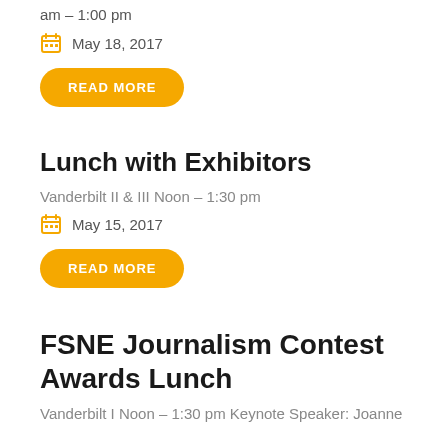am – 1:00 pm
May 18, 2017
READ MORE
Lunch with Exhibitors
Vanderbilt II & III Noon – 1:30 pm
May 15, 2017
READ MORE
FSNE Journalism Contest Awards Lunch
Vanderbilt I Noon – 1:30 pm Keynote Speaker: Joanne